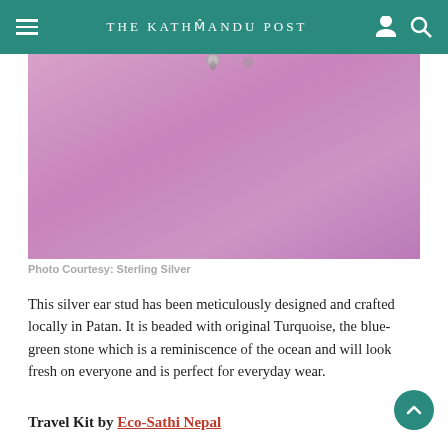THE KATHMANDU POST
[Figure (photo): Close-up of a pink/mauve fabric or textile background with small silver ear stud beads visible at the top]
Photo Courtesy: Sterling Silver
This silver ear stud has been meticulously designed and crafted locally in Patan. It is beaded with original Turquoise, the blue-green stone which is a reminiscence of the ocean and will look fresh on everyone and is perfect for everyday wear.
Travel Kit by Eco-Sathi Nepal